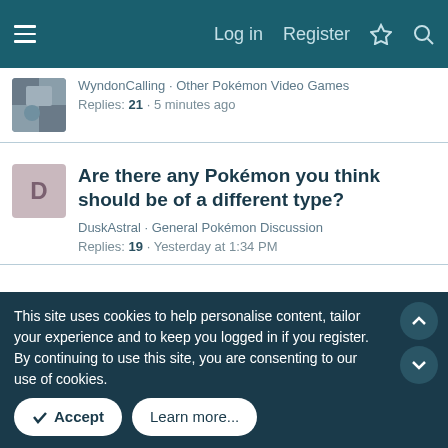Log in  Register
WyndonCalling · Other Pokémon Video Games
Replies: 21 · 5 minutes ago
Are there any Pokémon you think should be of a different type?
DuskAstral · General Pokémon Discussion
Replies: 19 · Yesterday at 1:34 PM
Unovia's Pokemon Red "Origins" Run
Unovia · BulbaBlogs · Word Count: 13k
Replies: 58 · Yesterday at 2:24 AM
Share:
This site uses cookies to help personalise content, tailor your experience and to keep you logged in if you register.
By continuing to use this site, you are consenting to our use of cookies.
Accept
Learn more...